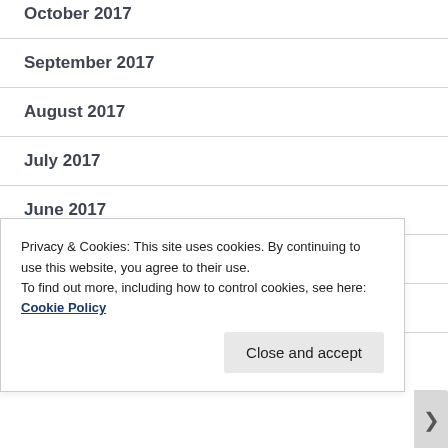October 2017
September 2017
August 2017
July 2017
June 2017
May 2017
April 2017
March 2017
Privacy & Cookies: This site uses cookies. By continuing to use this website, you agree to their use.
To find out more, including how to control cookies, see here: Cookie Policy
Close and accept